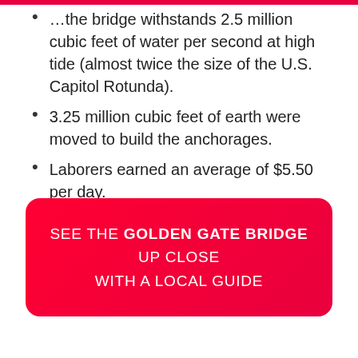…the bridge withstands 2.5 million cubic feet of water per second at high tide (almost twice the size of the U.S. Capitol Rotunda).
3.25 million cubic feet of earth were moved to build the anchorages.
Laborers earned an average of $5.50 per day.
SEE THE GOLDEN GATE BRIDGE UP CLOSE WITH A LOCAL GUIDE